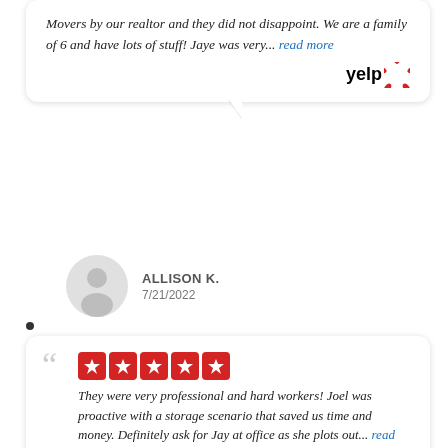Movers by our realtor and they did not disappoint. We are a family of 6 and have lots of stuff! Jaye was very... read more
[Figure (logo): Yelp logo with red burst icon]
ALLISON K. 7/21/2022
They were very professional and hard workers! Joel was proactive with a storage scenario that saved us time and money. Definitely ask for Jay at office as she plots out... read more
[Figure (logo): Yelp logo with red burst icon]